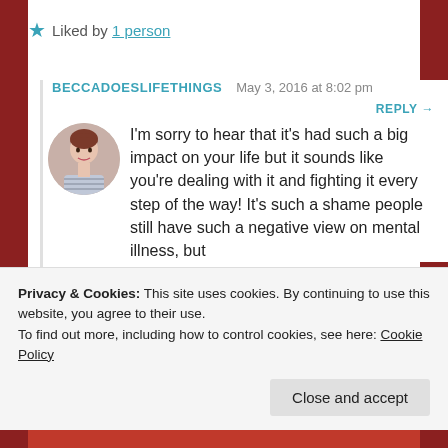Liked by 1 person
BECCADOESLIFETHINGS   May 3, 2016 at 8:02 pm
REPLY →
I'm sorry to hear that it's had such a big impact on your life but it sounds like you're dealing with it and fighting it every step of the way! It's such a shame people still have such a negative view on mental illness, but
Privacy & Cookies: This site uses cookies. By continuing to use this website, you agree to their use.
To find out more, including how to control cookies, see here: Cookie Policy
Close and accept